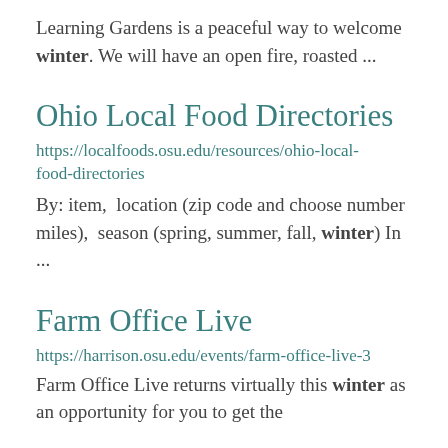Learning Gardens is a peaceful way to welcome winter. We will have an open fire, roasted ...
Ohio Local Food Directories
https://localfoods.osu.edu/resources/ohio-local-food-directories
By: item,  location (zip code and choose number miles),  season (spring, summer, fall, winter) In ...
Farm Office Live
https://harrison.osu.edu/events/farm-office-live-3
Farm Office Live returns virtually this winter as an opportunity for you to get the